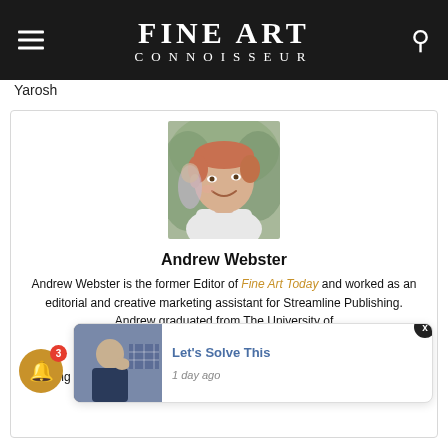FINE ART CONNOISSEUR
Yarosh
[Figure (photo): Portrait photo of Andrew Webster, a man smiling, wearing a white shirt, outdoors]
Andrew Webster
Andrew Webster is the former Editor of Fine Art Today and worked as an editorial and creative marketing assistant for Streamline Publishing. Andrew graduated from The University of [Oregon, with degrees in Art History and O...] of Oregon, [...] tudying under scholar Kathleen Nicholson, he completed a thesis project that investigated the peculiar practice of
[Figure (photo): Thumbnail image of a man in a suit thinking, for a 'Let's Solve This' article posted 1 day ago]